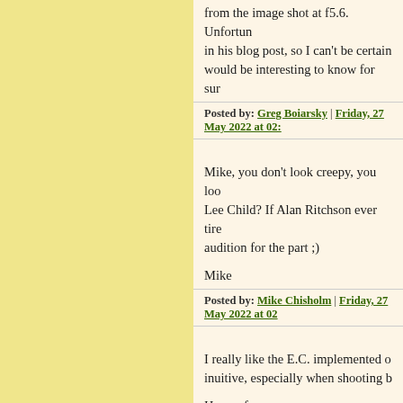from the image shot at f5.6. Unfortun... in his blog post, so I can't be certain... would be interesting to know for sur...
Posted by: Greg Boiarsky | Friday, 27 May 2022 at 02:...
Mike, you don't look creepy, you loo... Lee Child? If Alan Ritchson ever tire... audition for the part ;)
Mike
Posted by: Mike Chisholm | Friday, 27 May 2022 at 02...
I really like the E.C. implemented o... inuitive, especially when shooting b...
Horses for courses...
[That's interesting. I very strongly di... sometimes avoid using it even when...